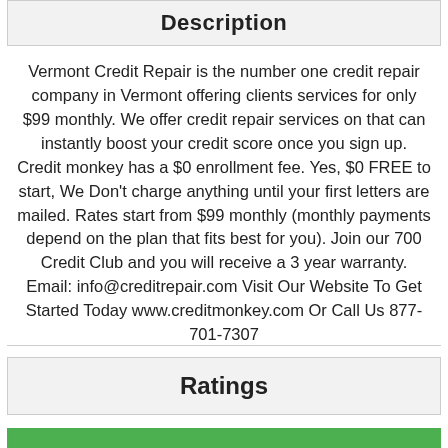Description
Vermont Credit Repair is the number one credit repair company in Vermont offering clients services for only $99 monthly. We offer credit repair services on that can instantly boost your credit score once you sign up. Credit monkey has a $0 enrollment fee. Yes, $0 FREE to start, We Don’t charge anything until your first letters are mailed. Rates start from $99 monthly (monthly payments depend on the plan that fits best for you). Join our 700 Credit Club and you will receive a 3 year warranty. Email: info@creditrepair.com Visit Our Website To Get Started Today www.creditmonkey.com Or Call Us 877-701-7307
Ratings